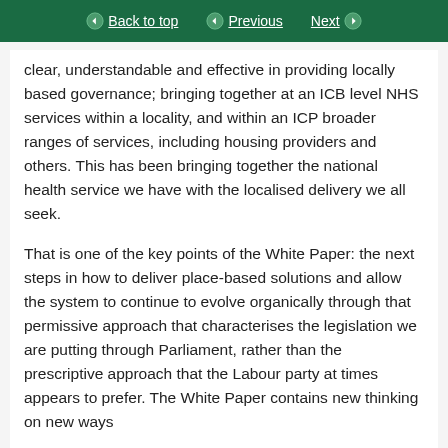Back to top | Previous | Next
clear, understandable and effective in providing locally based governance; bringing together at an ICB level NHS services within a locality, and within an ICP broader ranges of services, including housing providers and others. This has been bringing together the national health service we have with the localised delivery we all seek.
That is one of the key points of the White Paper: the next steps in how to deliver place-based solutions and allow the system to continue to evolve organically through that permissive approach that characterises the legislation we are putting through Parliament, rather than the prescriptive approach that the Labour party at times appears to prefer. The White Paper contains new thinking on new ways...